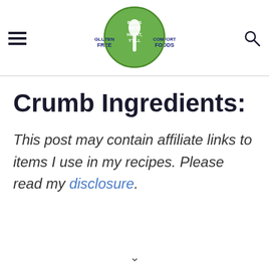Bless Her Heart Y'All — Gluten Free Comfort Foods
Crumb Ingredients:
This post may contain affiliate links to items I use in my recipes. Please read my disclosure.